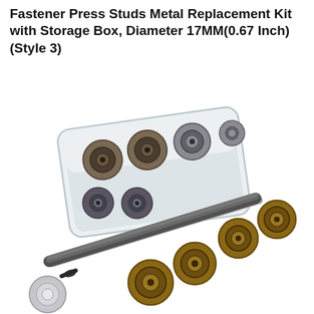Fastener Press Studs Metal Replacement Kit with Storage Box, Diameter 17MM(0.67 Inch) (Style 3)
[Figure (photo): Product photo showing a clear plastic storage box containing multiple metal press stud snap fasteners, accompanied by a metal installation tool (cylindrical rod), four bronze/antique metal snap buttons arranged diagonally, and one silver snap button component in the lower left corner, all on a white background.]